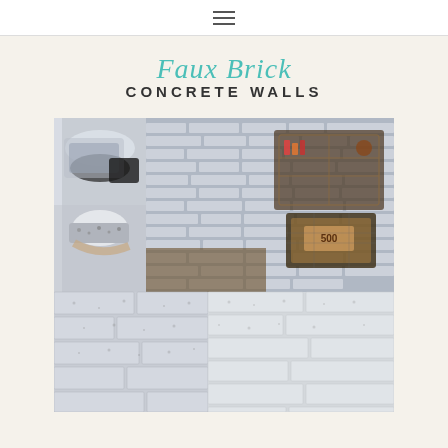☰ (hamburger menu icon)
Faux Brick CONCRETE WALLS
[Figure (photo): Collage of four photos showing faux brick concrete wall DIY project: top-left two small photos of paint supplies and sponge roller technique; top-right large photo of finished grey faux brick wall with rustic shelving; bottom-left close-up of textured brick wall surface; bottom-right another angle of white-grey concrete brick wall]